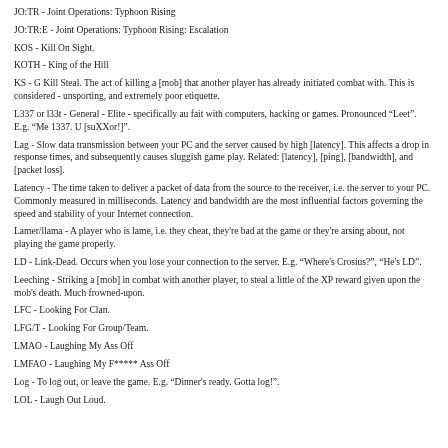JO:TR - Joint Operations: Typhoon Rising
JO:TR:E - Joint Operations: Typhoon Rising: Escalation
KOS - Kill On Sight.
KOTH - King of the Hill
KS - G Kill Steal. The act of killing a [mob] that another player has already initiated combat with. This is considered - unsporting, and extremely poor etiquette.
L337 or l33t - General - Elite - specifically au fait with computers, hacking or games. Pronounced "Leet". E.g. "Me 1337. U [suXXor!]".
Lag - Slow data transmission between your PC and the server caused by high [latency]. This affects a drop in response times, and subsequently causes sluggish game play. Related: [latency], [ping], [bandwidth], and [packet loss].
Latency - The time taken to deliver a packet of data from the source to the receiver, i.e. the server to your PC. Commonly measured in milliseconds. Latency and bandwidth are the most influential factors governing the speed and stability of your Internet connection.
Lamer/llama - A player who is lame, i.e. they cheat, they're bad at the game or they're arsing about, not playing the game properly.
LD - Link-Dead. Occurs when you lose your connection to the server. E.g. "Where's Crosius?", "He's LD".
Leeching - Striking a [mob] in combat with another player, to steal a little of the XP reward given upon the mob's death. Much frowned-upon.
LFC - Looking For Clan.
LFG/T - Looking For Group/Team.
LMAO - Laughing My Ass Off
LMFAO - Laughing My F***** Ass Off
Log - To log out, or leave the game. E.g. "Dinner's ready. Gotta log!".
LOL - Laugh Out Loud.